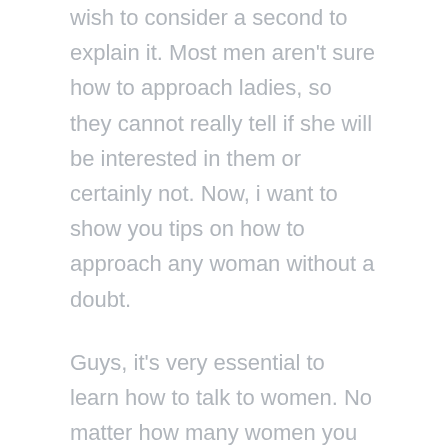wish to consider a second to explain it. Most men aren't sure how to approach ladies, so they cannot really tell if she will be interested in them or certainly not. Now, i want to show you tips on how to approach any woman without a doubt.
Guys, it's very essential to learn how to talk to women. No matter how many women you approach, if you cannot open up and get them talking with you, then you certainly are wasting your time and effort. Displayed, when you talk to women contacting companies or via the internet, you need to be competent to do the same. You should never question them out 1st, but you will need to make sure that they feel comfortable. This is where you need to use the opener. This is basically the conversation beginner you